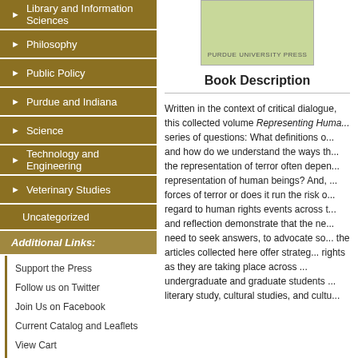► Library and Information Sciences
► Philosophy
► Public Policy
► Purdue and Indiana
► Science
► Technology and Engineering
► Veterinary Studies
Uncategorized
Additional Links:
Support the Press
Follow us on Twitter
Join Us on Facebook
Current Catalog and Leaflets
View Cart
[Figure (illustration): Purdue University Press book cover, green background]
Book Description
Written in the context of critical dialogue, this collected volume Representing Human Rights addresses a series of questions: What definitions of human rights exist, and how do we understand the ways that, for example, the representation of terror often depends on the representation of human beings? And, does art expose the forces of terror or does it run the risk of normalizing them? With regard to human rights events across the globe, scholarship and reflection demonstrate that the need to bear witness, the need to seek answers, to advocate social justice—all the articles collected here offer strategies for teaching human rights as they are taking place across disciplines and at both undergraduate and graduate students levels, in courses in literary study, cultural studies, and cultural history...